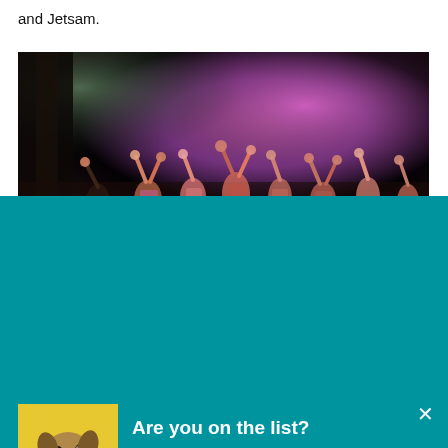and Jetsam.
[Figure (photo): Stage performance photo showing performers with raised fists under purple and teal stage lighting]
[Figure (photo): Pop-up modal overlay with teal background. Contains a dog photo on yellow background, close button (x), title 'Are you on the list?', body text about Grand Rapids Magazine Daily newsletter, and a white rounded button 'Add me to the list!']
Are you on the list?
The Grand Rapids Magazine Daily list, of course! Our curated newsletter highlights the best food, drinks, experiences and more in Grand Rapids.
Add me to the list!